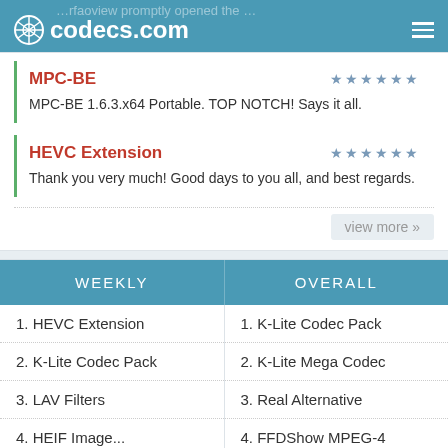codecs.com
MPC-BE
MPC-BE 1.6.3.x64 Portable. TOP NOTCH! Says it all.
HEVC Extension
Thank you very much! Good days to you all, and best regards.
view more »
| WEEKLY | OVERALL |
| --- | --- |
| 1. HEVC Extension | 1. K-Lite Codec Pack |
| 2. K-Lite Codec Pack | 2. K-Lite Mega Codec |
| 3. LAV Filters | 3. Real Alternative |
| 4. HEIF Image... | 4. FFDShow MPEG-4 |
| 5. K-Lite Mega Codec | 5. Media Player Classic |
| 6. QuickTime... | 6. LAME MP3 Encoder |